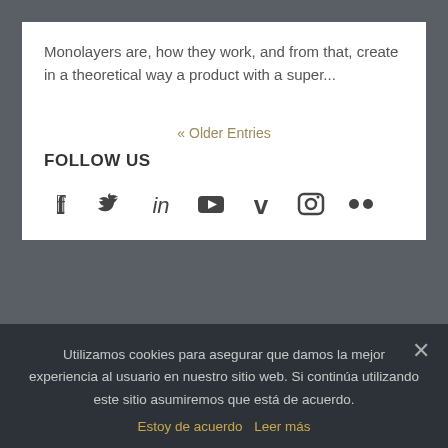Monolayers are, how they work, and from that, create in a theoretical way a product with a super...
« Older Entries
FOLLOW US
[Figure (infographic): Social media icons: Facebook, Twitter, LinkedIn, YouTube, Vimeo, Instagram, Flickr]
OUTREACH
|CES|: Outreach activities aimed at educating t...
Utilizamos cookies para asegurar que damos la mejor experiencia al usuario en nuestro sitio web. Si continúa utilizando este sitio asumiremos que está de acuerdo.
Estoy de acuerdo   Leer más